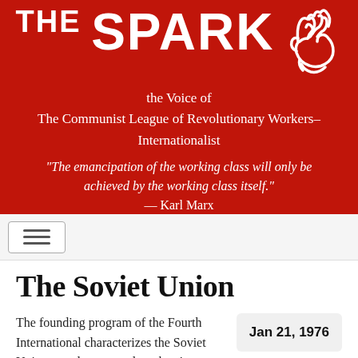THE SPARK
the Voice of The Communist League of Revolutionary Workers–Internationalist
"The emancipation of the working class will only be achieved by the working class itself." — Karl Marx
The Soviet Union
Jan 21, 1976
The founding program of the Fourth International characterizes the Soviet Union as a degenerated workers' state. This characterization